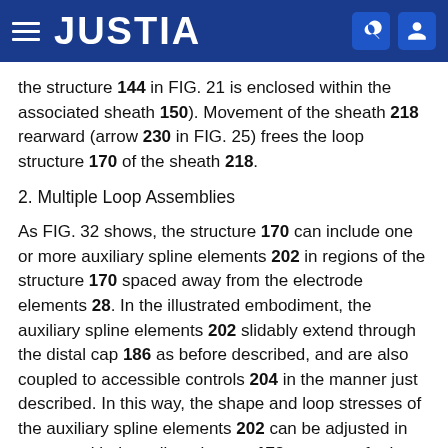JUSTIA
the structure 144 in FIG. 21 is enclosed within the associated sheath 150). Movement of the sheath 218 rearward (arrow 230 in FIG. 25) frees the loop structure 170 of the sheath 218.
2. Multiple Loop Assemblies
As FIG. 32 shows, the structure 170 can include one or more auxiliary spline elements 202 in regions of the structure 170 spaced away from the electrode elements 28. In the illustrated embodiment, the auxiliary spline elements 202 slidably extend through the distal cap 186 as before described, and are also coupled to accessible controls 204 in the manner just described. In this way, the shape and loop stresses of the auxiliary spline elements 202 can be adjusted in concert with the spline element 172, to create further back pressures to urge the electrode 28 toward intimate contact with tissue